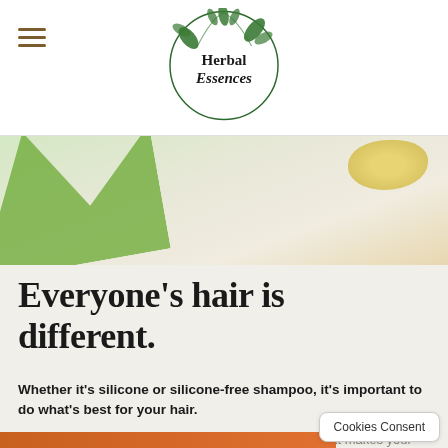[Figure (logo): Herbal Essences logo: circle with leaf/botanical wreath, text 'Herbal Essences' in dark green]
[Figure (photo): Hero image showing green leaves and yellow/amber botanical elements on a light background]
Everyone’s hair is different.
Whether it's silicone or silicone-free shampoo, it’s important to do what’s best for your hair.
Try out different shampoos and conditioners to see what makes your hair feel its best. Within our Herbal Essences bio:renew hair produ…
Cookies Consent